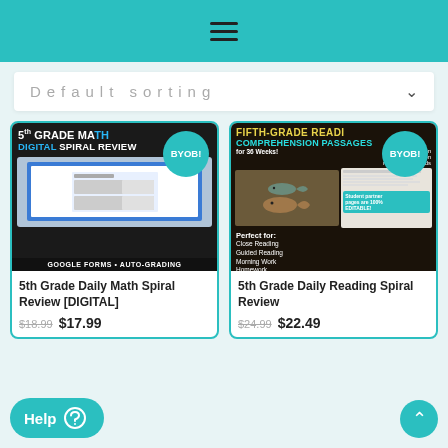Navigation menu
Default sorting
[Figure (photo): 5th Grade Daily Math Spiral Review digital product thumbnail showing a laptop with Google Forms math worksheet, text: 5th Grade Math Digital Spiral Review, Google Forms Auto-Grading, BYOB! badge]
5th Grade Daily Math Spiral Review [DIGITAL]
$18.99  $17.99
[Figure (photo): 5th Grade Daily Reading Comprehension Passages product thumbnail showing reading worksheets with fish images, text: Fifth-Grade Reading Comprehension Passages for 36 Weeks, Perfect for: Close Reading Guided Reading Morning Work Homework, BYOB! badge]
5th Grade Daily Reading Spiral Review
$24.99  $22.49